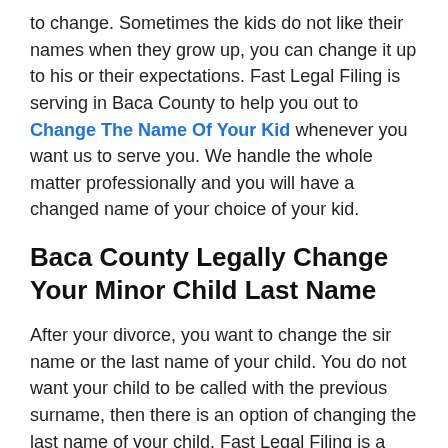to change. Sometimes the kids do not like their names when they grow up, you can change it up to his or their expectations. Fast Legal Filing is serving in Baca County to help you out to Change The Name Of Your Kid whenever you want us to serve you. We handle the whole matter professionally and you will have a changed name of your choice of your kid.
Baca County Legally Change Your Minor Child Last Name
After your divorce, you want to change the sir name or the last name of your child. You do not want your child to be called with the previous surname, then there is an option of changing the last name of your child. Fast Legal Filing is a certified company to help you out to Change Your Minor Child's Last Name legally. We file suit on your behalf and go through the legal process so that your child may not have to live with an unwanted sir